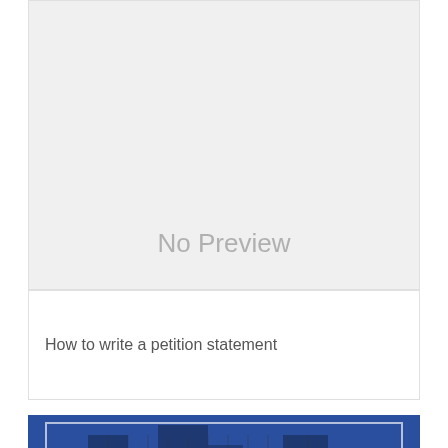[Figure (other): No Preview placeholder card with grey background]
How to write a petition statement
[Figure (illustration): Sample Letter to Bank Explaining Bad Credit - banner image with city buildings and a red X mark on dark blue background]